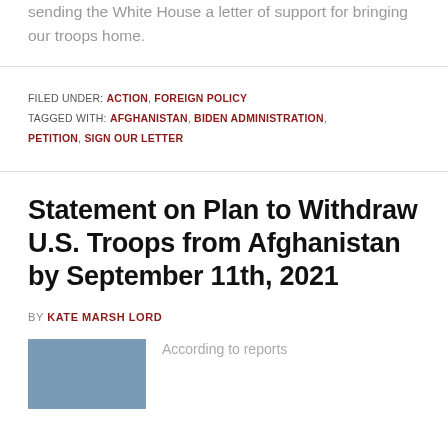sending the White House a letter of support for bringing our troops home.
FILED UNDER: ACTION, FOREIGN POLICY
TAGGED WITH: AFGHANISTAN, BIDEN ADMINISTRATION, PETITION, SIGN OUR LETTER
Statement on Plan to Withdraw U.S. Troops from Afghanistan by September 11th, 2021
BY KATE MARSH LORD
According to reports